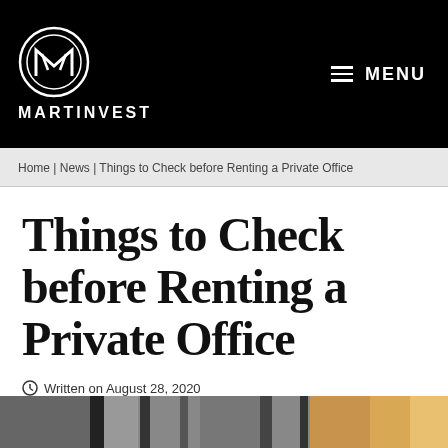MARTINVEST — MENU
Home | News | Things to Check before Renting a Private Office
Things to Check before Renting a Private Office
Written on August 28, 2020
[Figure (photo): Bottom strip of a photo showing what appears to be office interior elements, partially visible]